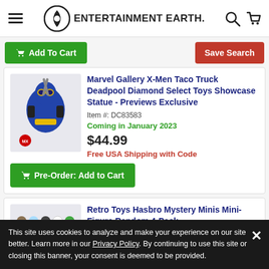Entertainment Earth
Add To Cart | Save Search
Marvel Gallery X-Men Taco Truck Deadpool Diamond Select Toys Showcase Statue - Previews Exclusive
Item #: DC83583
Coming in January 2023
$44.99
Free USA Shipping with Code
Pre-Order: Add to Cart
Retro Toys Hasbro Mystery Minis Mini-Figure Random 4-Pack
This site uses cookies to analyze and make your experience on our site better. Learn more in our Privacy Policy. By continuing to use this site or closing this banner, your consent is deemed to be provided.